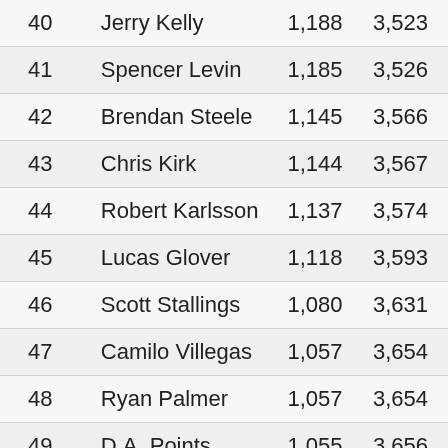| 40 | Jerry Kelly | 1,188 | 3,523 |
| 41 | Spencer Levin | 1,185 | 3,526 |
| 42 | Brendan Steele | 1,145 | 3,566 |
| 43 | Chris Kirk | 1,144 | 3,567 |
| 44 | Robert Karlsson | 1,137 | 3,574 |
| 45 | Lucas Glover | 1,118 | 3,593 |
| 46 | Scott Stallings | 1,080 | 3,631 |
| 47 | Camilo Villegas | 1,057 | 3,654 |
| 48 | Ryan Palmer | 1,057 | 3,654 |
| 49 | D.A. Points | 1,055 | 3,656 |
| 50 | Jhonattan Vegas | 1,046 | 3,665 |